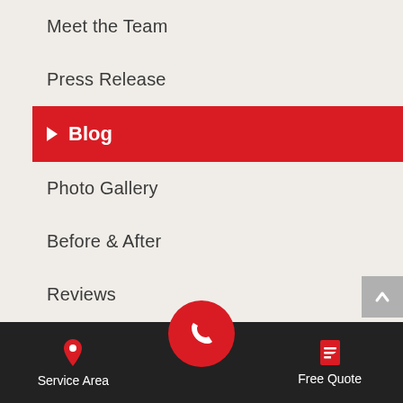Meet the Team
Press Release
Blog
Photo Gallery
Before & After
Reviews
Testimonials
Videos
Technical Papers
Awards
[Figure (screenshot): Mobile app bottom navigation bar with phone call button (red circle with phone icon), Service Area (map pin icon), and Free Quote (document icon)]